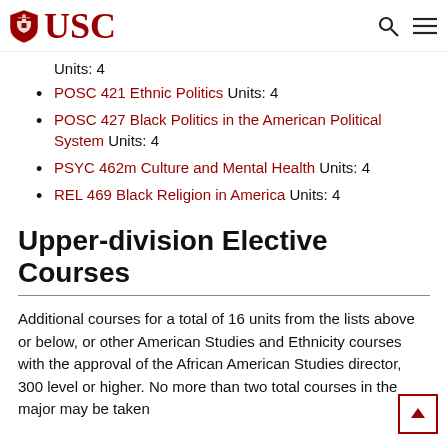USC
Units: 4
POSC 421 Ethnic Politics Units: 4
POSC 427 Black Politics in the American Political System Units: 4
PSYC 462m Culture and Mental Health Units: 4
REL 469 Black Religion in America Units: 4
Upper-division Elective Courses
Additional courses for a total of 16 units from the lists above or below, or other American Studies and Ethnicity courses with the approval of the African American Studies director, 300 level or higher. No more than two total courses in the major may be taken